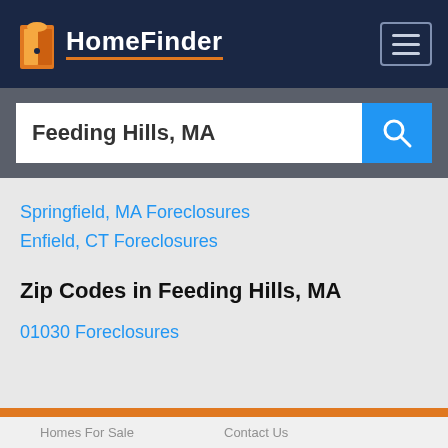[Figure (logo): HomeFinder logo with orange door icon and white text on dark navy background, with hamburger menu icon in top right]
Feeding Hills, MA
Springfield, MA Foreclosures
Enfield, CT Foreclosures
Zip Codes in Feeding Hills, MA
01030 Foreclosures
Homes For Sale   Contact Us   Home Rentals   Support